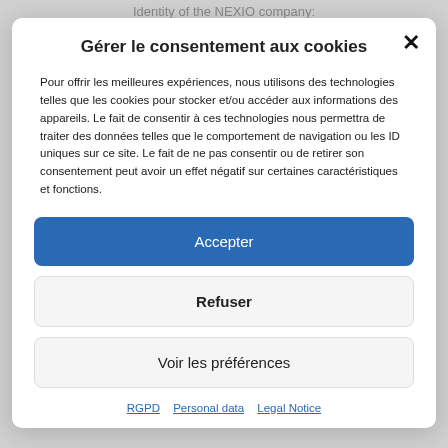Identity of the NEXIO company:
Gérer le consentement aux cookies
Pour offrir les meilleures expériences, nous utilisons des technologies telles que les cookies pour stocker et/ou accéder aux informations des appareils. Le fait de consentir à ces technologies nous permettra de traiter des données telles que le comportement de navigation ou les ID uniques sur ce site. Le fait de ne pas consentir ou de retirer son consentement peut avoir un effet négatif sur certaines caractéristiques et fonctions.
Accepter
Refuser
Voir les préférences
RGPD  Personal data  Legal Notice